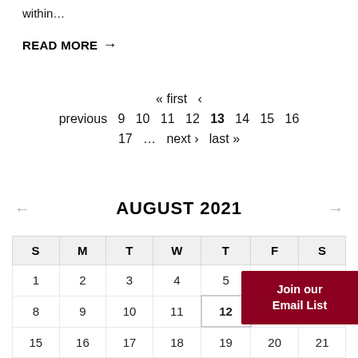within…
READ MORE →
« first ‹ previous 9 10 11 12 13 14 15 16 17 … next › last »
AUGUST 2021
| S | M | T | W | T | F | S |
| --- | --- | --- | --- | --- | --- | --- |
| 1 | 2 | 3 | 4 | 5 | 6 |  |
| 8 | 9 | 10 | 11 | 12 | 13 |  |
| 15 | 16 | 17 | 18 | 19 | 20 | 21 |